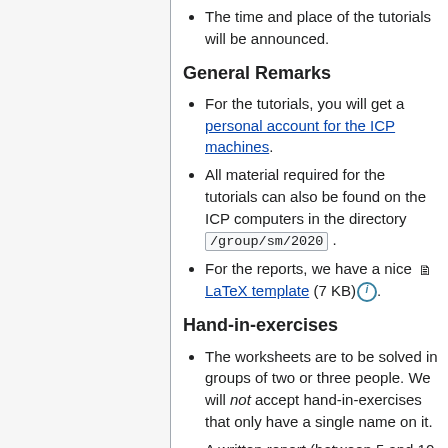The time and place of the tutorials will be announced.
General Remarks
For the tutorials, you will get a personal account for the ICP machines.
All material required for the tutorials can also be found on the ICP computers in the directory /group/sm/2020 .
For the reports, we have a nice LaTeX template (7 KB).
Hand-in-exercises
The worksheets are to be solved in groups of two or three people. We will not accept hand-in-exercises that only have a single name on it.
A written report (between 5 and 10